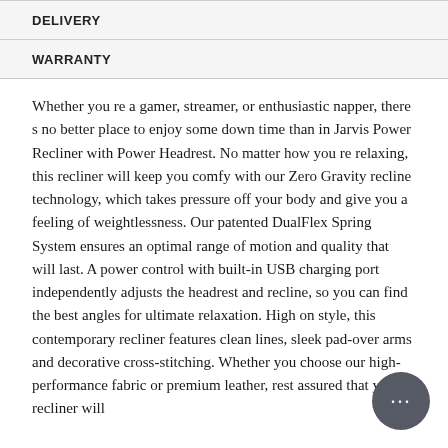DELIVERY
WARRANTY
Whether you re a gamer, streamer, or enthusiastic napper, there s no better place to enjoy some down time than in Jarvis Power Recliner with Power Headrest. No matter how you re relaxing, this recliner will keep you comfy with our Zero Gravity recline technology, which takes pressure off your body and give you a feeling of weightlessness. Our patented DualFlex Spring System ensures an optimal range of motion and quality that will last. A power control with built-in USB charging port independently adjusts the headrest and recline, so you can find the best angles for ultimate relaxation. High on style, this contemporary recliner features clean lines, sleek pad-over arms and decorative cross-stitching. Whether you choose our high-performance fabric or premium leather, rest assured that your recliner will